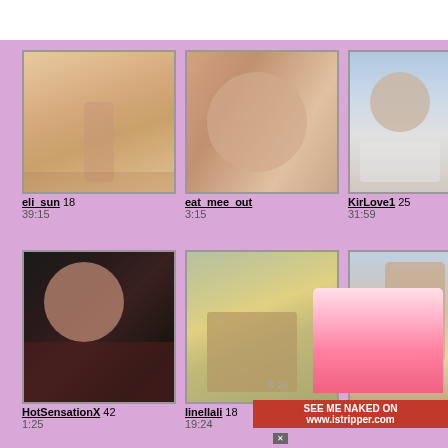[Figure (screenshot): Thumbnail grid of webcam video previews with usernames and durations. Row 1: eli_sun 18 (39:15), eat_mee_out (3:15), KirLove1 25 (31:59). Row 2: HotSensationX 42 (1:25), linellali 18 (19:24), partially visible third thumbnail. Advertisement overlay in bottom-right corner for www.istripper.com.]